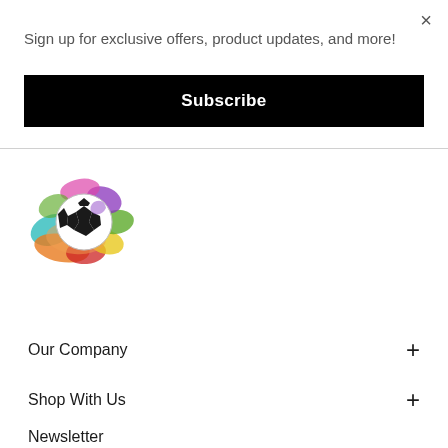×
Sign up for exclusive offers, product updates, and more!
Subscribe
[Figure (illustration): Colorful abstract splash illustration with a soccer ball (black and white) in the center, surrounded by multi-colored organic shapes in teal, orange, red, yellow, green, purple, and pink.]
Our Company
Shop With Us
Newsletter